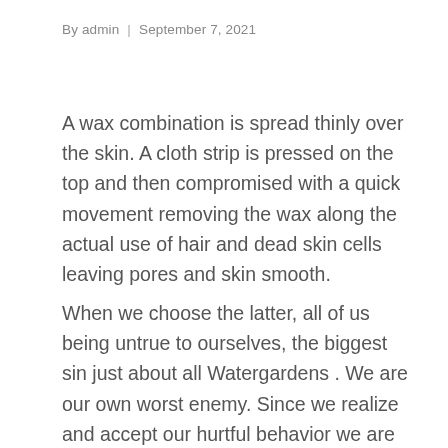By admin  |  September 7, 2021
A wax combination is spread thinly over the skin. A cloth strip is pressed on the top and then compromised with a quick movement removing the wax along the actual use of hair and dead skin cells leaving pores and skin smooth.
When we choose the latter, all of us being untrue to ourselves, the biggest sin just about all Watergardens . We are our own worst enemy. Since we realize and accept our hurtful behavior we are willing to step onto our healing path it's essential to the expedition. To do otherwise would be deliberately unkind